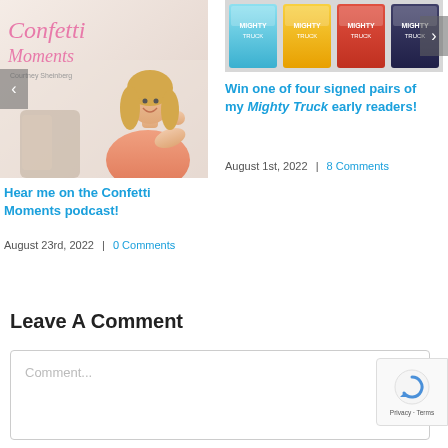[Figure (photo): Confetti Moments podcast cover image with a blonde woman and pink script logo]
Hear me on the Confetti Moments podcast!
August 23rd, 2022 | 0 Comments
[Figure (photo): Four Mighty Truck early reader book covers side by side]
Win one of four signed pairs of my Mighty Truck early readers!
August 1st, 2022 | 8 Comments
Leave A Comment
Comment...